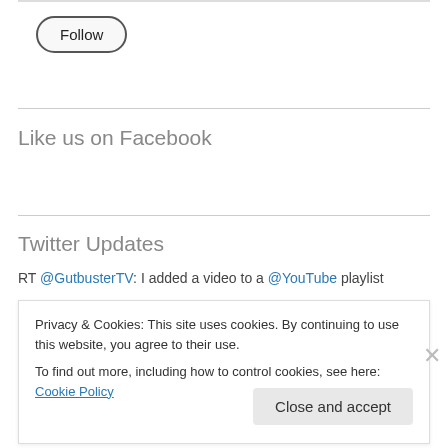Follow
Like us on Facebook
Twitter Updates
RT @GutbusterTV: I added a video to a @YouTube playlist
Privacy & Cookies: This site uses cookies. By continuing to use this website, you agree to their use.
To find out more, including how to control cookies, see here: Cookie Policy
Close and accept